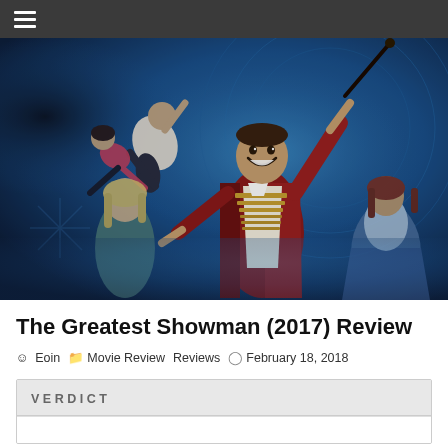☰
[Figure (photo): Movie poster/promotional image for The Greatest Showman (2017). A man in a red ringmaster coat with gold trim holds a cane aloft while smiling broadly, surrounded by acrobatic performers and a blue circus-themed background. A blonde woman stands to his left and a woman in a blue gown is to his right.]
The Greatest Showman (2017) Review
Eoin   Movie Review   Reviews   February 18, 2018
VERDICT